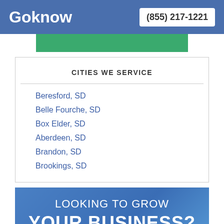Goknow | (855) 217-1221
CITIES WE SERVICE
Beresford, SD
Belle Fourche, SD
Box Elder, SD
Aberdeen, SD
Brandon, SD
Brookings, SD
LOOKING TO GROW YOUR BUSINESS?